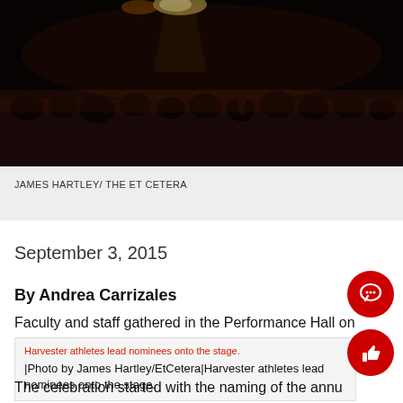[Figure (photo): Dark theater/auditorium with audience silhouettes and stage lighting from above]
JAMES HARTLEY/ THE ET CETERA
September 3, 2015
By Andrea Carrizales
Faculty and staff gathered in the Performance Hall on
[Figure (photo): Inline image: Harvester athletes lead nominees onto the stage.]
|Photo by James Hartley/EtCetera|Harvester athletes lead nominees onto the stage.
The celebration started with the naming of the annu...